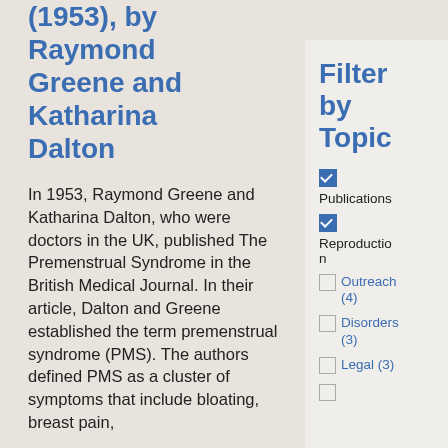(1953), by Raymond Greene and Katharina Dalton
In 1953, Raymond Greene and Katharina Dalton, who were doctors in the UK, published The Premenstrual Syndrome in the British Medical Journal. In their article, Dalton and Greene established the term premenstrual syndrome (PMS). The authors defined PMS as a cluster of symptoms that include bloating, breast pain,
Filter by Topic
Publications (checked)
Reproduction (checked)
Outreach (4)
Disorders (3)
Legal (3)